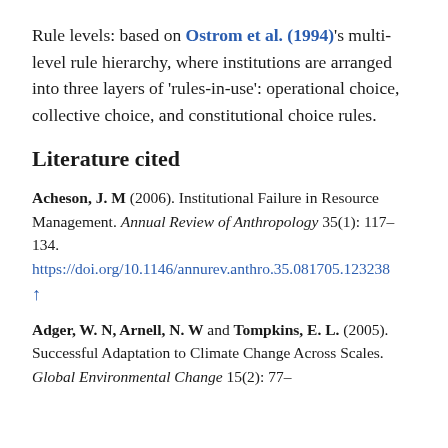Rule levels: based on Ostrom et al. (1994)'s multi-level rule hierarchy, where institutions are arranged into three layers of 'rules-in-use': operational choice, collective choice, and constitutional choice rules.
Literature cited
Acheson, J. M (2006). Institutional Failure in Resource Management. Annual Review of Anthropology 35(1): 117–134. https://doi.org/10.1146/annurev.anthro.35.081705.123238 ↑
Adger, W. N, Arnell, N. W and Tompkins, E. L. (2005). Successful Adaptation to Climate Change Across Scales. Global Environmental Change 15(2): 77–86. https://doi.org/10.1016/j.gloenvcha.2004.12.005 ↑